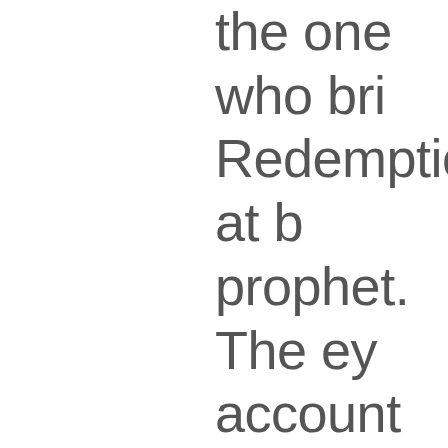the one who bri Redemption at b prophet. The ey account Risen. A in our daily pray forgiveness. I an believe You died me. Prayer inter for the prayers o Jesus Name. Am Blood I am a poe Christ, Evangelis Cruz†Wiggins †S inspired Christ h Ephesians 6:17-1 Gospel Chapter 20** **Divine d